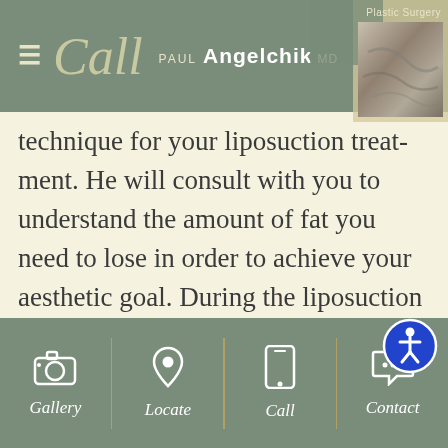Call — Paul Angelchik MD — Plastic Surgery
[Figure (photo): Partial photo of a person's body area used in plastic surgery context, overlaid on tan/green color blocks in top right corner]
technique for your liposuction treatment. He will consult with you to understand the amount of fat you need to lose in order to achieve your aesthetic goal. During the liposuction procedure, a small incision is made in an area that can be well hidden. The incision may leave a minor scar. Usually, a tumescent fluid is injected in the area of treatment, this fluid contains a local anesthetic. The local anesthetic is used to diminish pain and
Gallery   Locate   Call   Contact